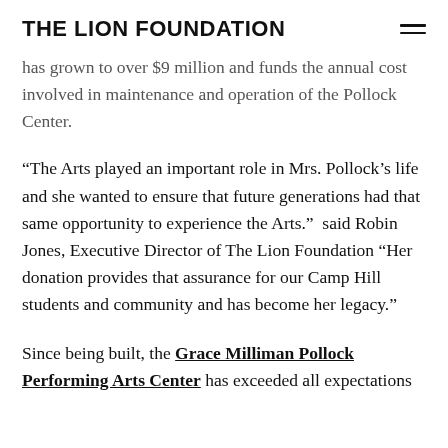THE LION FOUNDATION
has grown to over $9 million and funds the annual cost involved in maintenance and operation of the Pollock Center.
“The Arts played an important role in Mrs. Pollock’s life and she wanted to ensure that future generations had that same opportunity to experience the Arts.”  said Robin Jones, Executive Director of The Lion Foundation “Her donation provides that assurance for our Camp Hill students and community and has become her legacy.”
Since being built, the Grace Milliman Pollock Performing Arts Center has exceeded all expectations